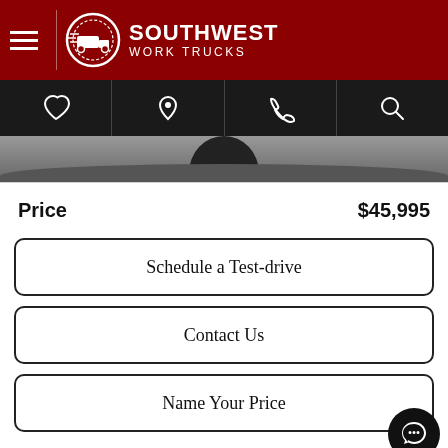Southwest Work Trucks
Price  $45,995
Schedule a Test-drive
Contact Us
Name Your Price
Value Your Car